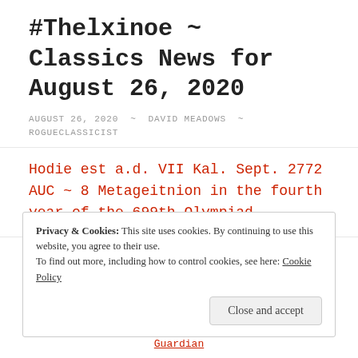#Thelxinoe ~ Classics News for August 26, 2020
AUGUST 26, 2020 ~ DAVID MEADOWS ~ ROGUECLASSICIST
Hodie est a.d. VII Kal. Sept. 2772 AUC ~ 8 Metageitnion in the fourth year of the 699th Olympiad
In the News
Privacy & Cookies: This site uses cookies. By continuing to use this website, you agree to their use.
To find out more, including how to control cookies, see here: Cookie Policy
Close and accept
Guardian